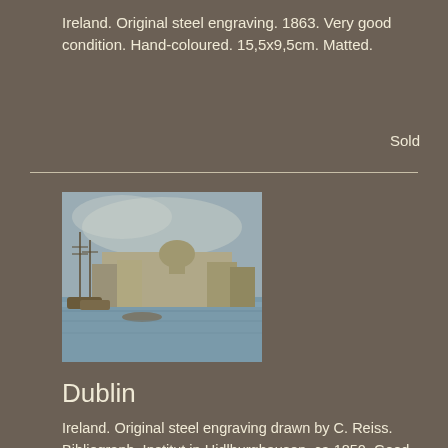Ireland. Original steel engraving. 1863. Very good condition. Hand-coloured. 15,5x9,5cm. Matted.
Sold
[Figure (photo): Antique steel engraving of Dublin harbour/waterfront with sailing ships, buildings and dome in background, hand-coloured, sepia/blue tones]
Dublin
Ireland. Original steel engraving drawn by C. Reiss. Bibliograph. Institut in Hidlburghausen. ca 1850. Good condition. Hand-coloured. 14,5x9,5cm. Matted.
Sold
[Figure (photo): Antique steel engraving of a landscape with trees and distant town/cityscape, hand-coloured]